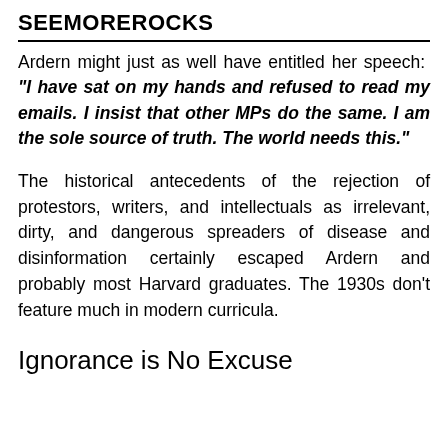SEEMOREROCKS
Ardern might just as well have entitled her speech: “I have sat on my hands and refused to read my emails. I insist that other MPs do the same. I am the sole source of truth. The world needs this.”
The historical antecedents of the rejection of protestors, writers, and intellectuals as irrelevant, dirty, and dangerous spreaders of disease and disinformation certainly escaped Ardern and probably most Harvard graduates. The 1930s don’t feature much in modern curricula.
Ignorance is No Excuse